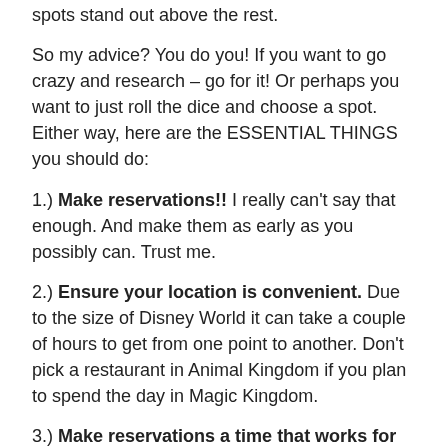spots stand out above the rest.
So my advice? You do you! If you want to go crazy and research – go for it! Or perhaps you want to just roll the dice and choose a spot. Either way, here are the ESSENTIAL THINGS you should do:
1.) Make reservations!! I really can't say that enough. And make them as early as you possibly can. Trust me.
2.) Ensure your location is convenient. Due to the size of Disney World it can take a couple of hours to get from one point to another. Don't pick a restaurant in Animal Kingdom if you plan to spend the day in Magic Kingdom.
3.) Make reservations a time that works for your schedule. If a big lunch makes you uncomfortable, skip table service then. Don't schedule dinner at 5:00 if you